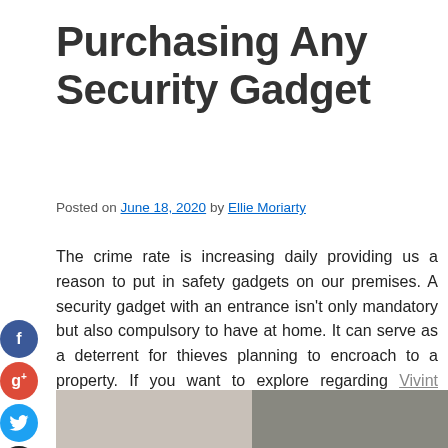Purchasing Any Security Gadget
Posted on June 18, 2020 by Ellie Moriarty
The crime rate is increasing daily providing us a reason to put in safety gadgets on our premises. A security gadget with an entrance isn't only mandatory but also compulsory to have at home. It can serve as a deterrent for thieves planning to encroach to a property. If you want to explore regarding Vivint security visit, https://www.home-security.com/systems/vivint.
[Figure (photo): Bottom portion of a photo showing what appears to be a security-related scene, split into two tones.]